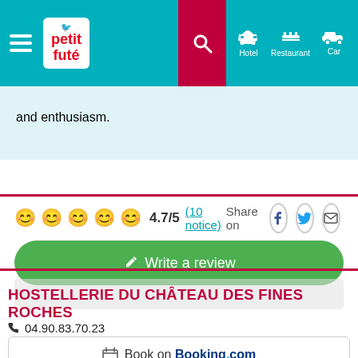Petit Futé — Hotel | Restaurant | Car
and enthusiasm.
4.7/5 (10 notice) — Share on Facebook, Twitter, Email
✎ Write a review
HOSTELLERIE DU CHÂTEAU DES FINES ROCHES
04.90.83.70.23
Book on Booking.com